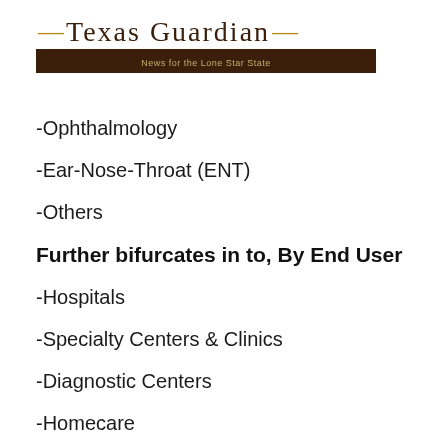Texas Guardian — News for the Lone Star State
-Ophthalmology
-Ear-Nose-Throat (ENT)
-Others
Further bifurcates in to, By End User
-Hospitals
-Specialty Centers & Clinics
-Diagnostic Centers
-Homecare
Further bifurcates in to, By Region